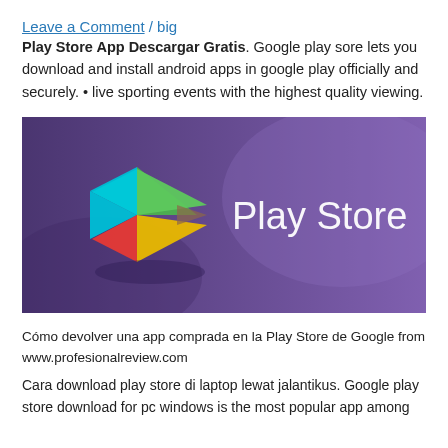Leave a Comment / big
Play Store App Descargar Gratis. Google play sore lets you download and install android apps in google play officially and securely. • live sporting events with the highest quality viewing.
[Figure (illustration): Play Store logo banner with Google Play triangle icon (segments of green, cyan, yellow, red) on a purple gradient background with 'Play Store' text in white]
Cómo devolver una app comprada en la Play Store de Google from www.profesionalreview.com
Cara download play store di laptop lewat jalantikus. Google play store download for pc windows is the most popular app among